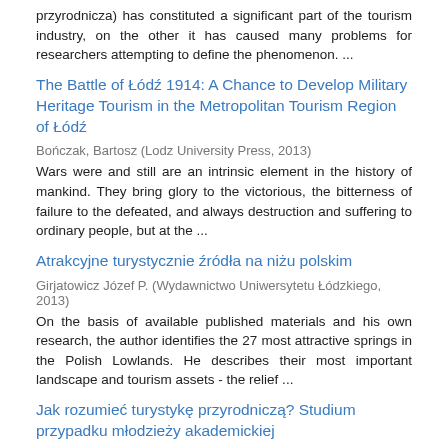przyrodnicza) has constituted a significant part of the tourism industry, on the other it has caused many problems for researchers attempting to define the phenomenon. ...
The Battle of Łódź 1914: A Chance to Develop Military Heritage Tourism in the Metropolitan Tourism Region of Łódź
Bończak, Bartosz (Lodz University Press, 2013)
Wars were and still are an intrinsic element in the history of mankind. They bring glory to the victorious, the bitterness of failure to the defeated, and always destruction and suffering to ordinary people, but at the ...
Atrakcyjne turystycznie źródła na niżu polskim
Girjatowicz Józef P. (Wydawnictwo Uniwersytetu Łódzkiego, 2013)
On the basis of available published materials and his own research, the author identifies the 27 most attractive springs in the Polish Lowlands. He describes their most important landscape and tourism assets - the relief ...
Jak rozumieć turystykę przyrodniczą? Studium przypadku młodzieży akademickiej
Graja-Zwolińska Sylwia; Spychała Aleksandra (Wydawnictwo Uniwersytetu Łódzkiego, 2013)